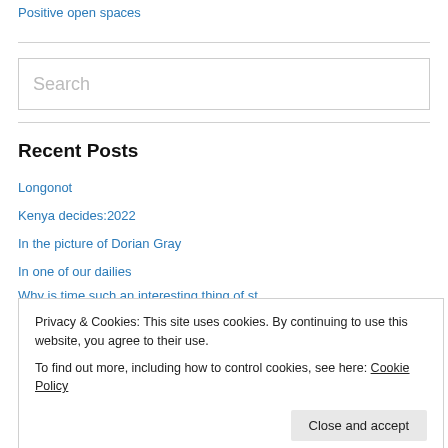Positive open spaces
Recent Posts
Longonot
Kenya decides:2022
In the picture of Dorian Gray
In one of our dailies
Why is time such an interesting thing of study
Privacy & Cookies: This site uses cookies. By continuing to use this website, you agree to their use. To find out more, including how to control cookies, see here: Cookie Policy
Close and accept
Advertisements